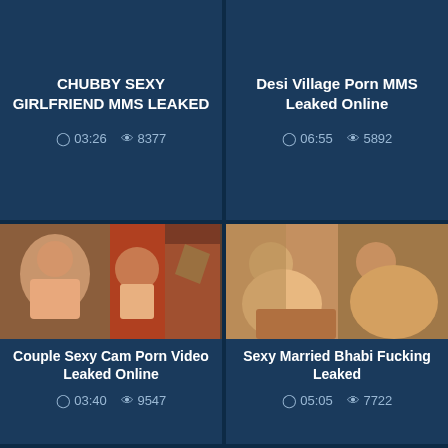CHUBBY SEXY GIRLFRIEND MMS LEAKED
03:26  8377
Desi Village Porn MMS Leaked Online
06:55  5892
[Figure (photo): Video thumbnail showing couple]
Couple Sexy Cam Porn Video Leaked Online
03:40  9547
[Figure (photo): Video thumbnail showing people]
Sexy Married Bhabi Fucking Leaked
05:05  7722
[Figure (other): Loading spinner placeholder]
[Figure (other): Loading spinner placeholder]